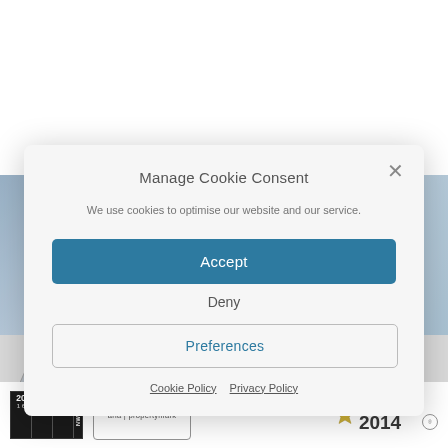Manage Cookie Consent
We use cookies to optimise our website and our service.
Accept
Is this how you’re feeling about your current agent? Do they promise the earth and then fail to deliver? See how we can help...
Deny
Preferences
Cookie Policy   Privacy Policy
[Figure (logo): The Property Ombudsman LETTINGS logo with triangle icon]
[Figure (logo): The Property Ombudsman logo with triangle icon]
[Figure (logo): NWPA awards 20/20/20 black and white badge]
[Figure (logo): arla | propertymark logo in bordered box]
[Figure (logo): YOUR MOVE PROPERTY AWARDS 2014 badge with star]